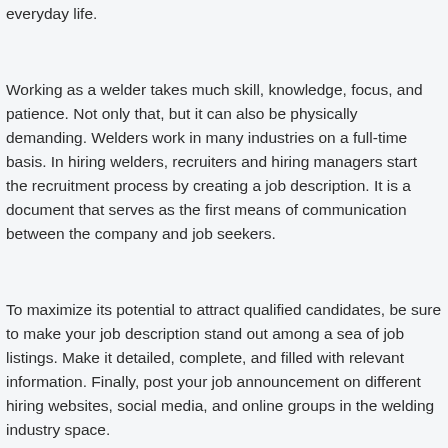everyday life.
Working as a welder takes much skill, knowledge, focus, and patience. Not only that, but it can also be physically demanding. Welders work in many industries on a full-time basis. In hiring welders, recruiters and hiring managers start the recruitment process by creating a job description. It is a document that serves as the first means of communication between the company and job seekers.
To maximize its potential to attract qualified candidates, be sure to make your job description stand out among a sea of job listings. Make it detailed, complete, and filled with relevant information. Finally, post your job announcement on different hiring websites, social media, and online groups in the welding industry space.